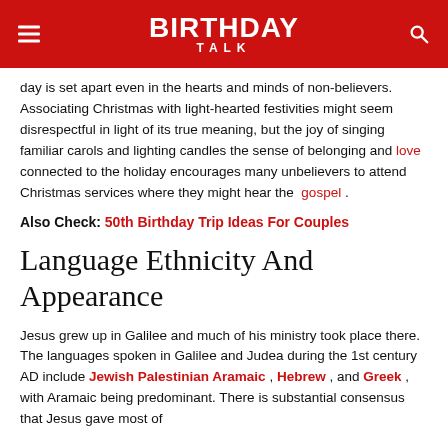BIRTHDAY TALK
day is set apart even in the hearts and minds of non-believers. Associating Christmas with light-hearted festivities might seem disrespectful in light of its true meaning, but the joy of singing familiar carols and lighting candles the sense of belonging and love connected to the holiday encourages many unbelievers to attend Christmas services where they might hear the gospel.
Also Check: 50th Birthday Trip Ideas For Couples
Language Ethnicity And Appearance
Jesus grew up in Galilee and much of his ministry took place there. The languages spoken in Galilee and Judea during the 1st century AD include Jewish Palestinian Aramaic, Hebrew, and Greek, with Aramaic being predominant. There is substantial consensus that Jesus gave most of